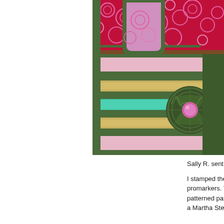[Figure (photo): A decorative handcrafted box or card with green stripes, pink glitter strips, gold ribbon strips, teal glitter accent, a dark green floral/lace circle with pink button embellishment, and a red/pink patterned paper topper with bubble design at the top.]
Sally R. sent us this beautiful c...
I stamped the flowers and colo... promarkers. The background is... patterned papers with the strip... a Martha Stewart 'round the pa...